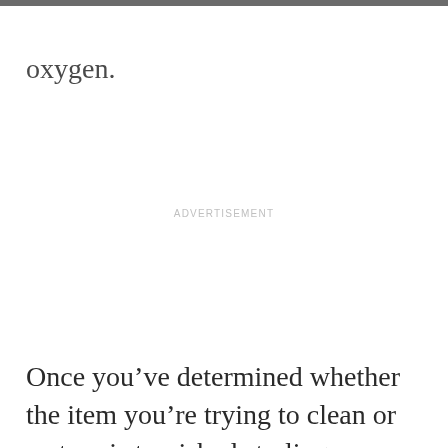oxygen.
ADVERTISEMENT
Once you've determined whether the item you're trying to clean or restore is tarnished sterling